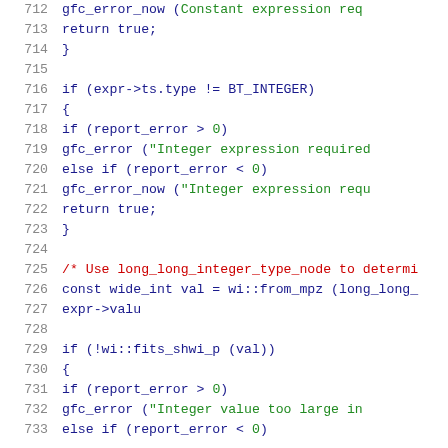Source code listing lines 712-733, C/C++ code for type checking